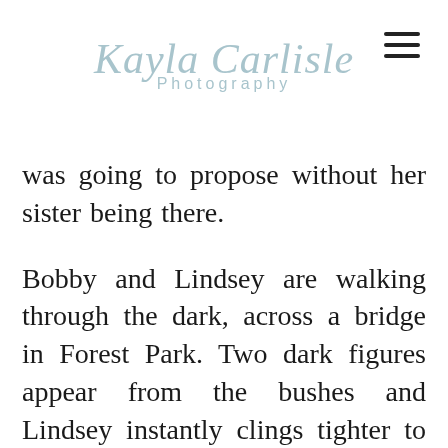Kayla Carlisle Photography
was going to propose without her sister being there.

Bobby and Lindsey are walking through the dark, across a bridge in Forest Park. Two dark figures appear from the bushes and Lindsey instantly clings tighter to Bobby's arm. Surprise! It's her sister and his roommate, and then Bobby is down